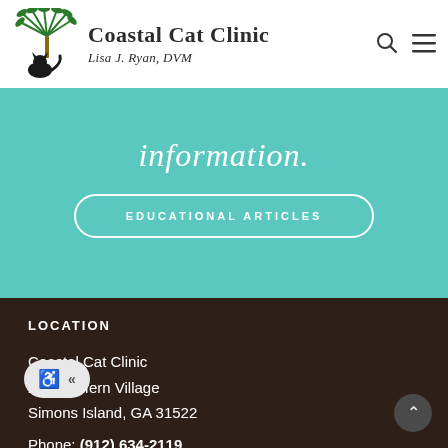Coastal Cat Clinic — Lisa J. Ryan, DVM
information.
EDUCATIONAL ARTICLES
LOCATION
Coastal Cat Clinic
280 Redfern Village
Simons Island, GA 31522
Phone: (912) 634-2119